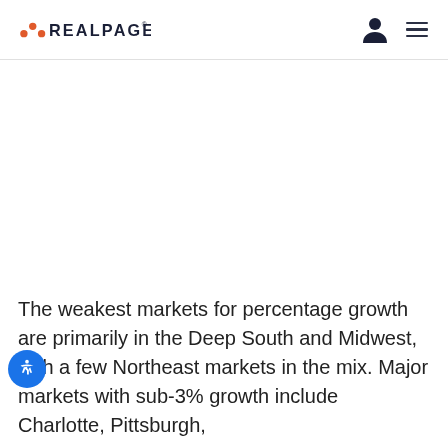REALPAGE
The weakest markets for percentage growth are primarily in the Deep South and Midwest, with a few Northeast markets in the mix. Major markets with sub-3% growth include Charlotte, Pittsburgh,